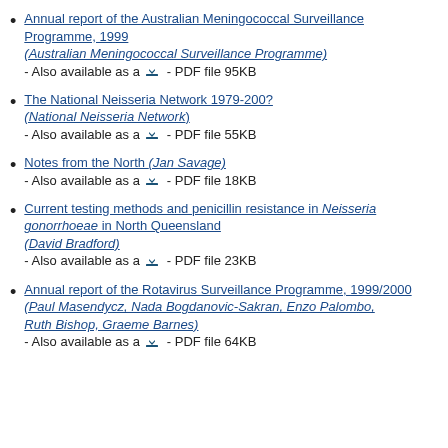Annual report of the Australian Meningococcal Surveillance Programme, 1999 (Australian Meningococcal Surveillance Programme) - Also available as a [download icon] - PDF file 95KB
The National Neisseria Network 1979-200? (National Neisseria Network) - Also available as a [download icon] - PDF file 55KB
Notes from the North (Jan Savage) - Also available as a [download icon] - PDF file 18KB
Current testing methods and penicillin resistance in Neisseria gonorrhoeae in North Queensland (David Bradford) - Also available as a [download icon] - PDF file 23KB
Annual report of the Rotavirus Surveillance Programme, 1999/2000 (Paul Masendycz, Nada Bogdanovic-Sakran, Enzo Palombo, Ruth Bishop, Graeme Barnes) - Also available as a [download icon] - PDF file 64KB